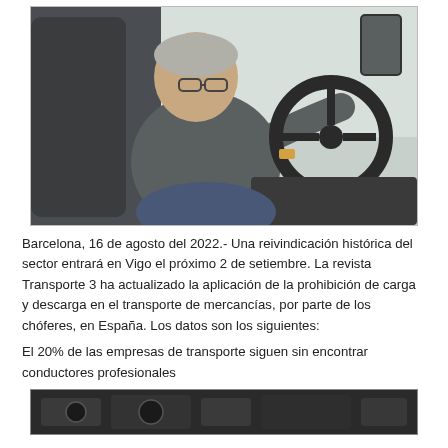[Figure (photo): A middle-aged man with gray hair and glasses sitting in the cab of a truck, holding a large steering wheel. The truck interior is visible with dashboard controls and a side mirror. The setting appears to be daytime.]
Barcelona, 16 de agosto del 2022.- Una reivindicación histórica del sector entrará en Vigo el próximo 2 de setiembre. La revista Transporte 3 ha actualizado la aplicación de la prohibición de carga y descarga en el transporte de mercancías, por parte de los chóferes, en España. Los datos son los siguientes:
El 20% de las empresas de transporte siguen sin encontrar conductores profesionales
[Figure (photo): Partial view of a truck dashboard interior, dark tones, bottom of the page.]